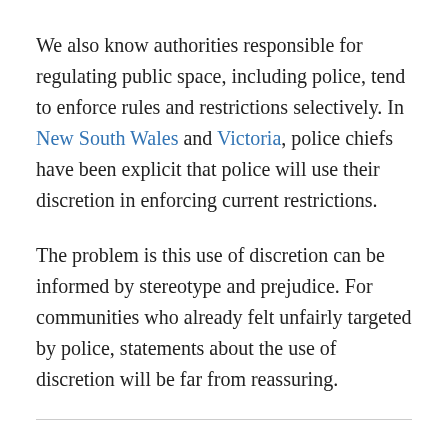We also know authorities responsible for regulating public space, including police, tend to enforce rules and restrictions selectively. In New South Wales and Victoria, police chiefs have been explicit that police will use their discretion in enforcing current restrictions.
The problem is this use of discretion can be informed by stereotype and prejudice. For communities who already felt unfairly targeted by police, statements about the use of discretion will be far from reassuring.
Read more: How city squares can be public places of protest or...